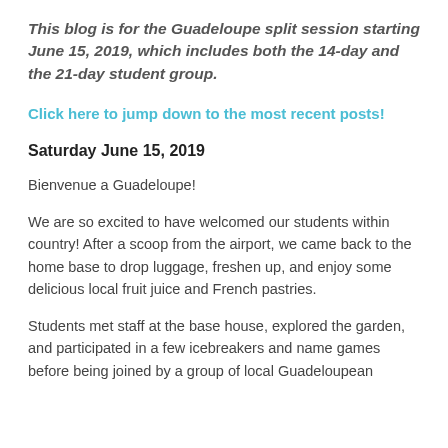This blog is for the Guadeloupe split session starting June 15, 2019, which includes both the 14-day and the 21-day student group.
Click here to jump down to the most recent posts!
Saturday June 15, 2019
Bienvenue a Guadeloupe!
We are so excited to have welcomed our students within country! After a scoop from the airport, we came back to the home base to drop luggage, freshen up, and enjoy some delicious local fruit juice and French pastries.
Students met staff at the base house, explored the garden, and participated in a few icebreakers and name games before being joined by a group of local Guadeloupean high school students for some after...